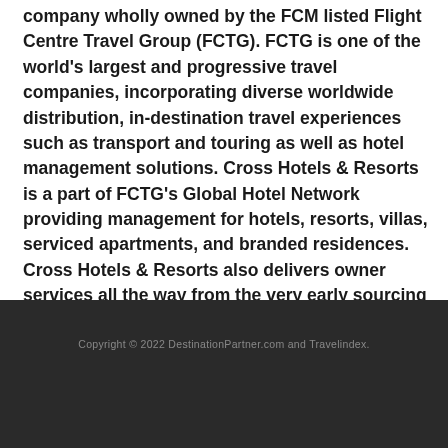company wholly owned by the FCM listed Flight Centre Travel Group (FCTG). FCTG is one of the world's largest and progressive travel companies, incorporating diverse worldwide distribution, in-destination travel experiences such as transport and touring as well as hotel management solutions. Cross Hotels & Resorts is a part of FCTG's Global Hotel Network providing management for hotels, resorts, villas, serviced apartments, and branded residences. Cross Hotels & Resorts also delivers owner services all the way from the very early sourcing & planning stages of development, through technical services during the build, to pre-opening services and finally professional ongoing hotel management.
Copyright © 2022 DestinationPartner.com and Travelindex.